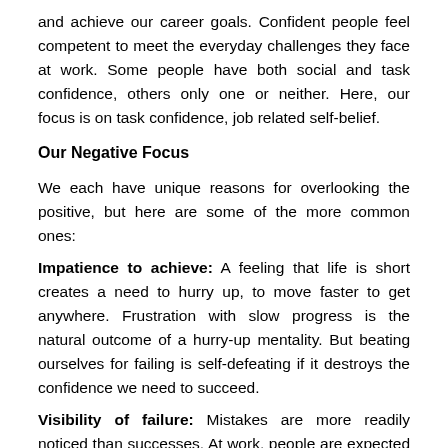and achieve our career goals. Confident people feel competent to meet the everyday challenges they face at work. Some people have both social and task confidence, others only one or neither. Here, our focus is on task confidence, job related self-belief.
Our Negative Focus
We each have unique reasons for overlooking the positive, but here are some of the more common ones:
Impatience to achieve: A feeling that life is short creates a need to hurry up, to move faster to get anywhere. Frustration with slow progress is the natural outcome of a hurry-up mentality. But beating ourselves for failing is self-defeating if it destroys the confidence we need to succeed.
Visibility of failure: Mistakes are more readily noticed than successes. At work, people are expected to meet